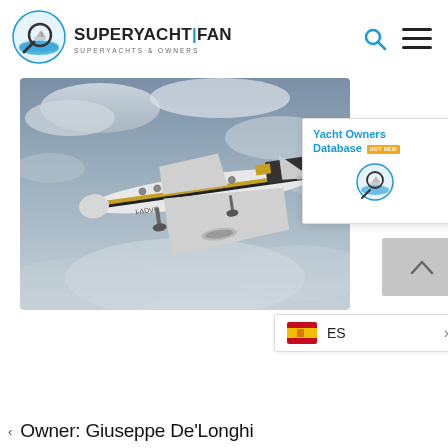[Figure (logo): SuperYachtFan logo with magnifying glass over ocean waves, blue and white circular icon]
SUPERYACHT | FAN
SUPERYACHTS & OWNERS
[Figure (photo): Private jet aircraft (registration I-ADVO) taking off against a cloudy sky, white with gold/black stripe livery]
Yacht Owners Database
ES
Owner: Giuseppe De'Longhi